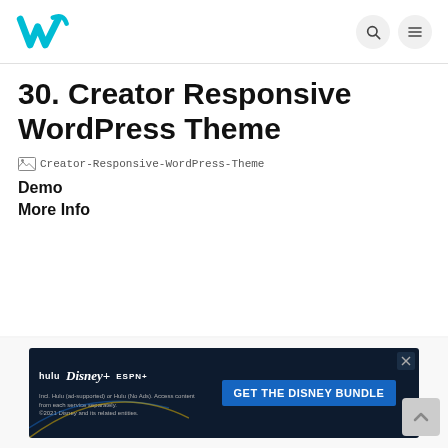W [logo] | [search icon] [menu icon]
30. Creator Responsive WordPress Theme
[Figure (other): Broken image placeholder with alt text: Creator-Responsive-WordPress-Theme]
Demo
More Info
[Figure (other): Filter icon (funnel/triangle shape) on the left and close (X in circle) on the right, on a light gray bar]
[Figure (other): Disney Bundle advertisement banner showing hulu, Disney+, ESPN+ logos with text GET THE DISNEY BUNDLE and fine print about Hulu plans and 2021 Disney entities]